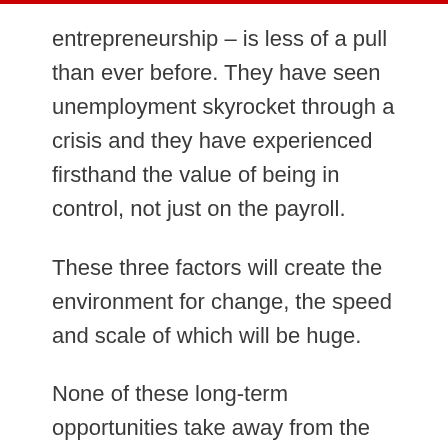entrepreneurship – is less of a pull than ever before. They have seen unemployment skyrocket through a crisis and they have experienced firsthand the value of being in control, not just on the payroll.
These three factors will create the environment for change, the speed and scale of which will be huge.
None of these long-term opportunities take away from the acute short-term pain of children and young people who have been deprived of their education, social lives and family support networks. This will have